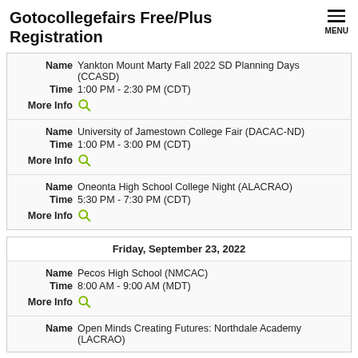Gotocollegefairs Free/Plus Registration
Name: Yankton Mount Marty Fall 2022 SD Planning Days (CCASD)
Time: 1:00 PM - 2:30 PM (CDT)
More Info
Name: University of Jamestown College Fair (DACAC-ND)
Time: 1:00 PM - 3:00 PM (CDT)
More Info
Name: Oneonta High School College Night (ALACRAO)
Time: 5:30 PM - 7:30 PM (CDT)
More Info
Friday, September 23, 2022
Name: Pecos High School (NMCAC)
Time: 8:00 AM - 9:00 AM (MDT)
More Info
Name: Open Minds Creating Futures: Northdale Academy (LACRAO)